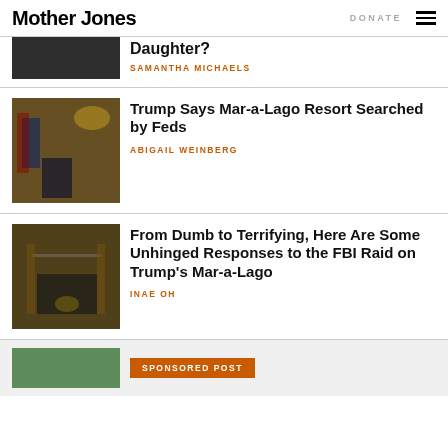Mother Jones | DONATE
[Figure (photo): Partial image at top, dark tones]
Daughter?
SAMANTHA MICHAELS
[Figure (photo): Trump standing at Mar-a-Lago in ornate gold room with chandelier and American flag]
Trump Says Mar-a-Lago Resort Searched by Feds
ABIGAIL WEINBERG
[Figure (photo): Trump at press conference in gold ornate room at Mar-a-Lago]
From Dumb to Terrifying, Here Are Some Unhinged Responses to the FBI Raid on Trump's Mar-a-Lago
INAE OH
SPONSORED POST